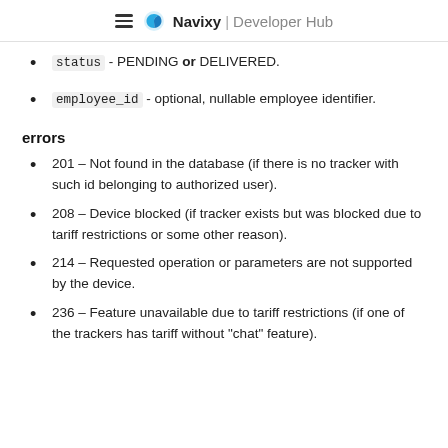≡ Navixy | Developer Hub
status - PENDING or DELIVERED.
employee_id - optional, nullable employee identifier.
errors
201 – Not found in the database (if there is no tracker with such id belonging to authorized user).
208 – Device blocked (if tracker exists but was blocked due to tariff restrictions or some other reason).
214 – Requested operation or parameters are not supported by the device.
236 – Feature unavailable due to tariff restrictions (if one of the trackers has tariff without "chat" feature).